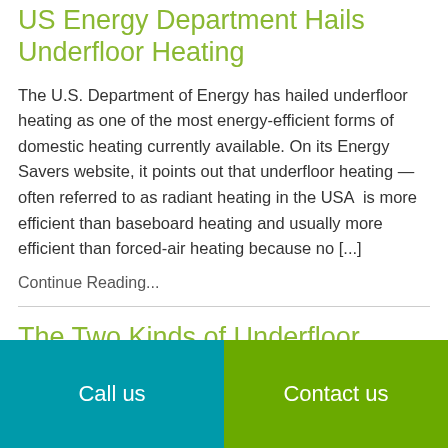US Energy Department Hails Underfloor Heating
The U.S. Department of Energy has hailed underfloor heating as one of the most energy-efficient forms of domestic heating currently available. On its Energy Savers website, it points out that underfloor heating — often referred to as radiant heating in the USA  is more efficient than baseboard heating and usually more efficient than forced-air heating because no [...]
Continue Reading...
The Two Kinds of Underfloor
Call us | Contact us